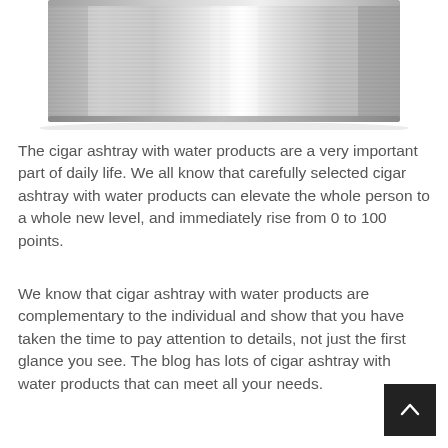[Figure (photo): Close-up bottom portion of a stainless steel cylindrical cigar ashtray with brushed metal texture and light reflections, shown against white background.]
The cigar ashtray with water products are a very important part of daily life. We all know that carefully selected cigar ashtray with water products can elevate the whole person to a whole new level, and immediately rise from 0 to 100 points.
We know that cigar ashtray with water products are complementary to the individual and show that you have taken the time to pay attention to details, not just the first glance you see. The blog has lots of cigar ashtray with water products that can meet all your needs.